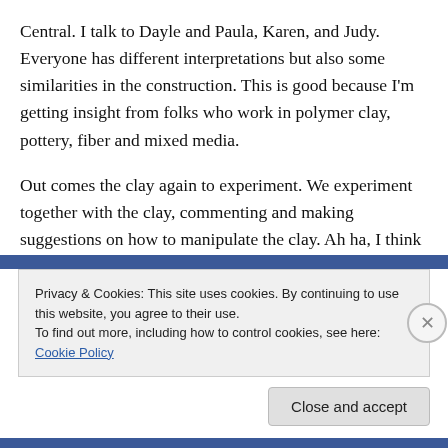Central. I talk to Dayle and Paula, Karen, and Judy. Everyone has different interpretations but also some similarities in the construction. This is good because I'm getting insight from folks who work in polymer clay, pottery, fiber and mixed media.
Out comes the clay again to experiment. We experiment together with the clay, commenting and making suggestions on how to manipulate the clay. Ah ha, I think we're on to something here.
Privacy & Cookies: This site uses cookies. By continuing to use this website, you agree to their use.
To find out more, including how to control cookies, see here: Cookie Policy
Close and accept